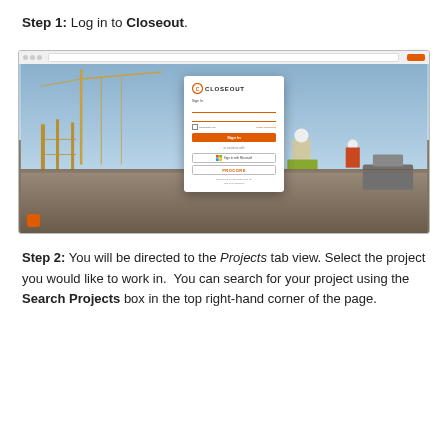Step 1: Log in to Closeout.
[Figure (screenshot): Screenshot of the Closeout application login page shown in a browser window, with a construction site background featuring cranes and workers in safety gear. A login modal is centered showing the Closeout logo, Sign In fields for email and password, a Forgot Password link, a Sign In button, and options to sign in with Microsoft or Procore.]
Step 2: You will be directed to the Projects tab view. Select the project you would like to work in. You can search for your project using the Search Projects box in the top right-hand corner of the page.